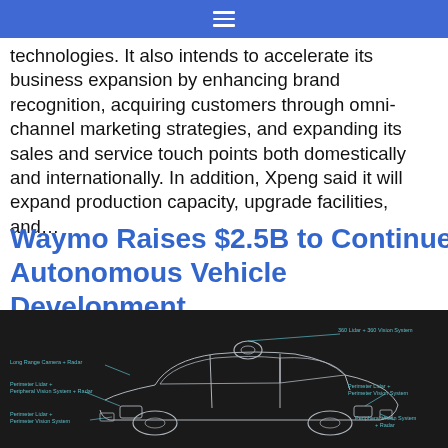≡
technologies. It also intends to accelerate its business expansion by enhancing brand recognition, acquiring customers through omni-channel marketing strategies, and expanding its sales and service touch points both domestically and internationally. In addition, Xpeng said it will expand production capacity, upgrade facilities, and…
Waymo Raises $2.5B to Continue Autonomous Vehicle Development
[Figure (engineering-diagram): Technical diagram of an autonomous vehicle (dark background) showing sensor placements labeled: Long Range Camera + Radar, 360 Lidar + 360 Vision System, Perimeter Lidar + Peripheral Vision System + Radar, Perimeter Lidar + Perimeter Vision System (right side), Perimeter Lidar + Perimeter Vision System (lower left), Peripheral Vision System + Radar (lower right)]